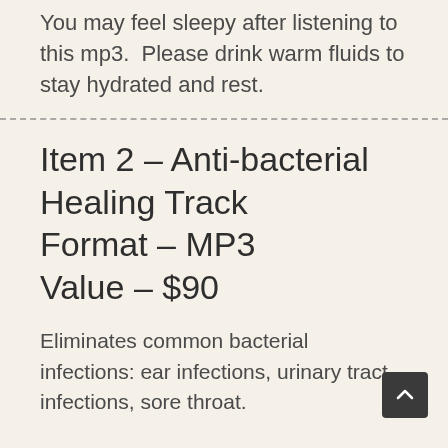You may feel sleepy after listening to this mp3.  Please drink warm fluids to stay hydrated and rest.
Item 2 – Anti-bacterial Healing Track
Format – MP3
Value – $90
Eliminates common bacterial infections: ear infections, urinary tract infections, sore throat.